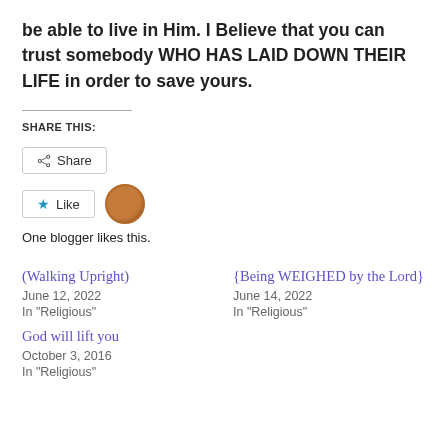be able to live in Him.  I Believe that you can trust somebody WHO HAS LAID DOWN THEIR LIFE in order to save yours.
SHARE THIS:
[Figure (other): Share button with share icon]
[Figure (other): Like button with star icon and blogger avatar]
One blogger likes this.
(Walking Upright)
June 12, 2022
In "Religious"
{Being WEIGHED by the Lord}
June 14, 2022
In "Religious"
God will lift you
October 3, 2016
In "Religious"